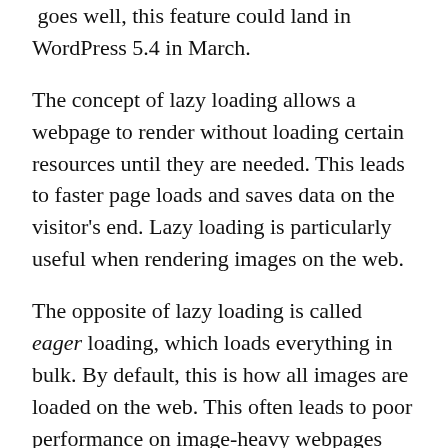[link text truncated at top] goes well, this feature could land in WordPress 5.4 in March.
The concept of lazy loading allows a webpage to render without loading certain resources until they are needed. This leads to faster page loads and saves data on the visitor's end. Lazy loading is particularly useful when rendering images on the web.
The opposite of lazy loading is called eager loading, which loads everything in bulk. By default, this is how all images are loaded on the web. This often leads to poor performance on image-heavy webpages where many of the images are not in the site visitor's viewport when first viewing the page.